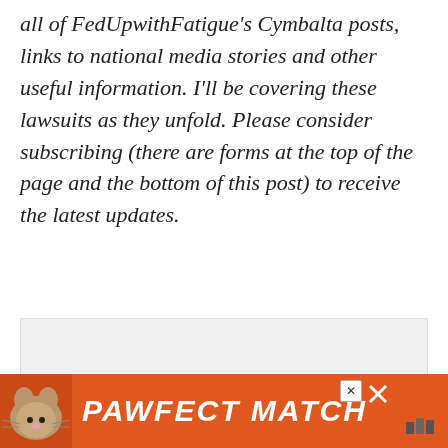all of FedUpwithFatigue's Cymbalta posts, links to national media stories and other useful information. I'll be covering these lawsuits as they unfold. Please consider subscribing (there are forms at the top of the page and the bottom of this post) to receive the latest updates.
[Figure (other): Gray empty advertisement placeholder box]
[Figure (other): Green advertisement banner showing a dog image and 'CHANGE A LIFE' text with a close button]
[Figure (other): Orange advertisement banner showing a cat image and 'PAWFECT MATCH' text in bold italic white letters with a close button, overlaid on a dark bottom bar]